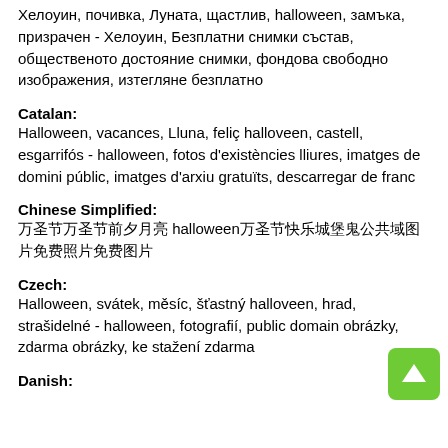Хелоуин, почивка, Луната, щастлив, halloween, замъка, призрачен - Хелоуин, Безплатни снимки състав, общественото достояние снимки, фондова свободно изображения, изтегляне безплатно
Catalan:
Halloween, vacances, Lluna, feliç halloveen, castell, esgarrifós - halloween, fotos d'existències lliures, imatges de domini públic, imatges d'arxiu gratuïts, descarregar de franc
Chinese Simplified:
万圣节万圣节前夕月亮 halloween万圣节快乐城堡鬼公共域图片免费照片免费图片
Czech:
Halloween, svátek, měsíc, šťastný halloveen, hrad, strašidelné - halloween, fotografií, public domain obrázky, zdarma obrázky, ke stažení zdarma
Danish: